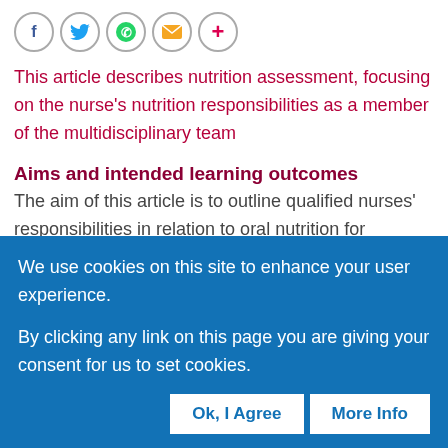[Figure (other): Social sharing icons: Facebook, Twitter, WhatsApp, Email, Plus]
This article describes nutrition assessment, focusing on the nurse's nutrition responsibilities as a member of the multidisciplinary team
Aims and intended learning outcomes
The aim of this article is to outline qualified nurses' responsibilities in relation to oral nutrition for patients. In the context of clinical practice, the importance of oral nutrition, assessing nutritional
We use cookies on this site to enhance your user experience.
By clicking any link on this page you are giving your consent for us to set cookies.